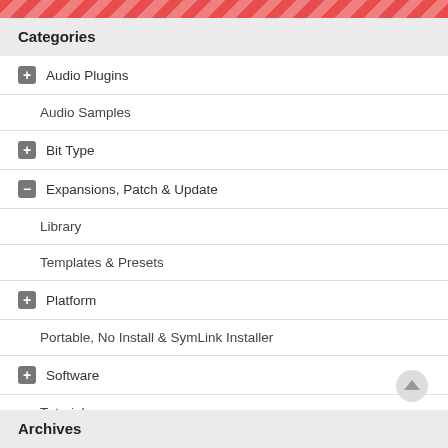Categories
Audio Plugins
Audio Samples
Bit Type
Expansions, Patch & Update
Library
Templates & Presets
Platform
Portable, No Install & SymLink Installer
Software
Tutorial
Archives